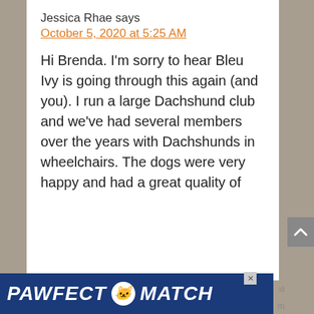Jessica Rhae says
October 5, 2020 at 5:25 AM
Hi Brenda. I'm sorry to hear Bleu Ivy is going through this again (and you). I run a large Dachshund club and we've had several members over the years with Dachshunds in wheelchairs. The dogs were very happy and had a great quality of
[Figure (other): Advertisement banner for PAWFECT MATCH with cat image and close button]